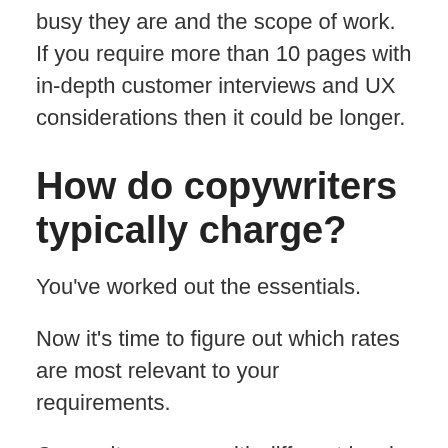busy they are and the scope of work. If you require more than 10 pages with in-depth customer interviews and UX considerations then it could be longer.
How do copywriters typically charge?
You've worked out the essentials.
Now it's time to figure out which rates are most relevant to your requirements.
Copywriters come with different levels of experience and specialties. Like anything, referencing a copywriter's experience is the